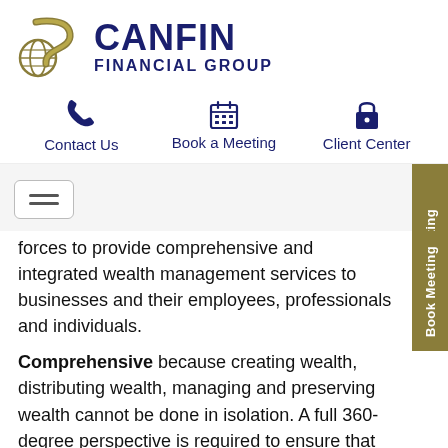[Figure (logo): Canfin Financial Group logo with gold globe/currency icon and dark navy blue text]
[Figure (infographic): Navigation icons row: phone icon (Contact Us), calendar icon (Book a Meeting), lock icon (Client Center)]
[Figure (infographic): Hamburger menu button (three horizontal lines) and Book Meeting side tab in gold/olive color]
forces to provide comprehensive and integrated wealth management services to businesses and their employees, professionals and individuals.
Comprehensive because creating wealth, distributing wealth, managing and preserving wealth cannot be done in isolation. A full 360-degree perspective is required to ensure that success in one area does not conflict with another. We use an integrated approach in all our engagements